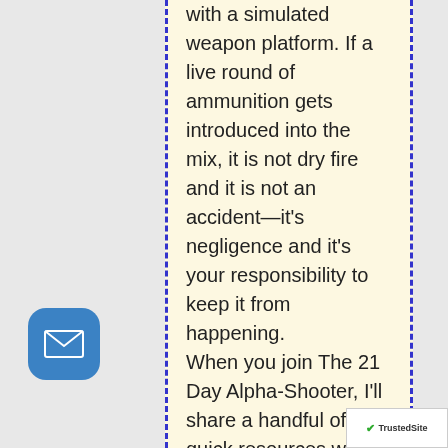with a simulated weapon platform. If a live round of ammunition gets introduced into the mix, it is not dry fire and it is not an accident—it's negligence and it's your responsibility to keep it from happening.

When you join The 21 Day Alpha-Shooter, I'll share a handful of quick resources with you for safer dry fire training, but it's important to remember that the purpose
[Figure (other): Blue rounded square email icon button in the bottom left area]
[Figure (logo): TrustedSite badge in the bottom right corner]